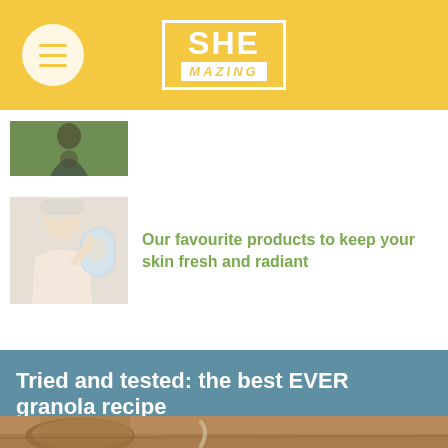SHE MAZING
[Figure (photo): Partial thumbnail of a person (pregnant woman) outdoors]
[Figure (photo): Woman with towel on head touching her face, looking in mirror - skincare article thumbnail]
Our favourite products to keep your skin fresh and radiant
Tried and tested: the best EVER granola recipe
Lifestyle   Food & Drink   Mind & Body   Nutrition
4 years ago by Food Writer
[Figure (photo): Partial bottom strip of granola in a jar on a wooden surface]